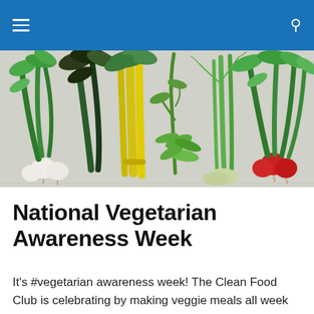Navigation bar with hamburger menu and search icon
[Figure (photo): Flat lay photograph of various fresh vegetables arranged on a light wooden surface, including white turnips, yellow chard, snap peas, fennel, and red radishes with green leafy tops.]
National Vegetarian Awareness Week
It's #vegetarian awareness week! The Clean Food Club is celebrating by making veggie meals all week using fresh, in-season produce from the farm. National Vegetarian